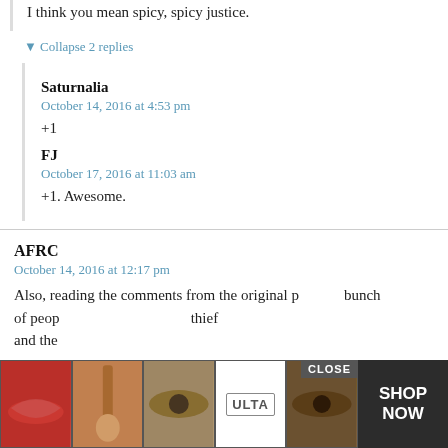I think you mean spicy, spicy justice.
▼ Collapse 2 replies
Saturnalia
October 14, 2016 at 4:53 pm
+1
FJ
October 17, 2016 at 11:03 am
+1. Awesome.
AFRC
October 14, 2016 at 12:17 pm
Also, reading the comments from the original p bunch of peop thief and the
[Figure (other): Advertisement overlay showing beauty/makeup images and ULTA logo with SHOP NOW button and CLOSE button]